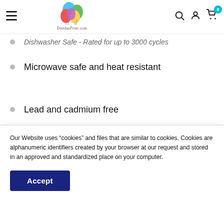[Figure (logo): DundasPrint.com logo with colorful balloons above the text]
Dishwasher Safe - Rated for up to 3000 cycles
Microwave safe and heat resistant
Lead and cadmium free
Our Website uses “cookies” and files that are similar to cookies. Cookies are alphanumeric identifiers created by your browser at our request and stored in an approved and standardized place on your computer.